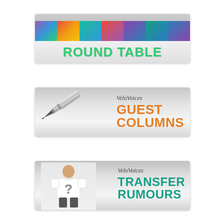[Figure (logo): VeloVoices Round Table banner with colorful portrait photos and green bold text reading ROUND TABLE]
[Figure (logo): VeloVoices Guest Columns banner with fountain pen image and orange bold text reading GUEST COLUMNS]
[Figure (logo): VeloVoices Transfer Rumours banner with cyclist figure wearing question mark jersey and teal bold text reading TRANSFER RUMOURS]